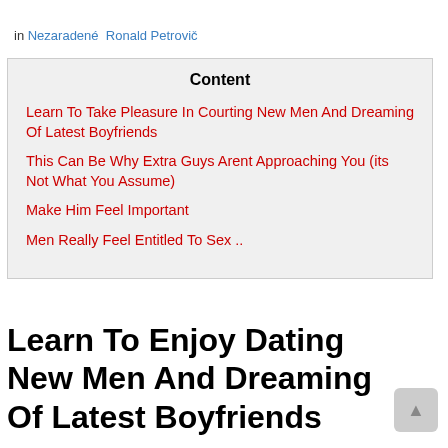in Nezaradené  Ronald Petrovič
Content
Learn To Take Pleasure In Courting New Men And Dreaming Of Latest Boyfriends
This Can Be Why Extra Guys Arent Approaching You (its Not What You Assume)
Make Him Feel Important
Men Really Feel Entitled To Sex ..
Learn To Enjoy Dating New Men And Dreaming Of Latest Boyfriends